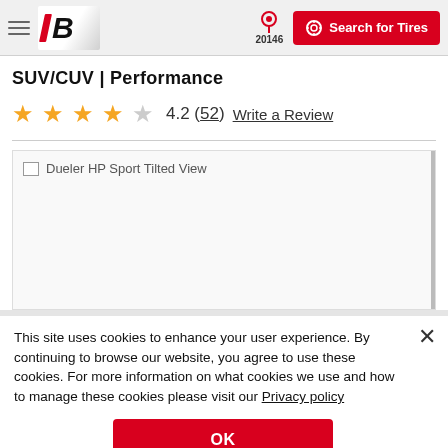Bridgestone | 20146 | Search for Tires
SUV/CUV | Performance
4.2 (52)  Write a Review
[Figure (photo): Dueler HP Sport Tilted View — broken image placeholder]
This site uses cookies to enhance your user experience. By continuing to browse our website, you agree to use these cookies. For more information on what cookies we use and how to manage these cookies please visit our Privacy policy
OK